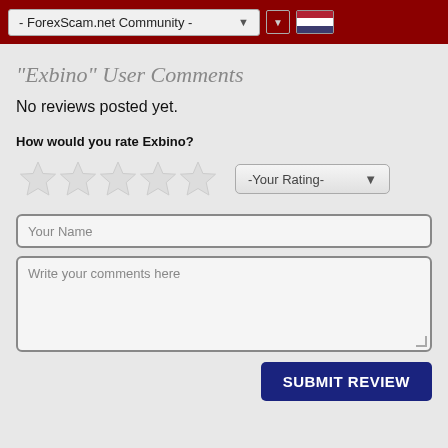- ForexScam.net Community -
"Exbino" User Comments
No reviews posted yet.
How would you rate Exbino?
[Figure (other): Five empty star rating icons followed by a -Your Rating- dropdown selector]
Your Name
Write your comments here
SUBMIT REVIEW